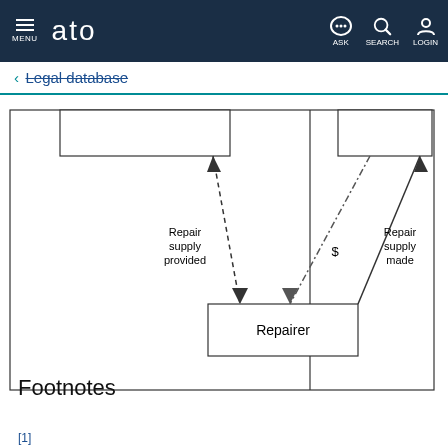MENU  ato  ASK  SEARCH  LOGIN
← Legal database
[Figure (flowchart): Partial diagram showing repair supply flow. A dashed arrow points from a box (partially visible at top) down toward a 'Repairer' box in the center-lower area, labeled 'Repair supply provided'. A dot-dash arrow goes from upper right toward the 'Repairer' box with a '$' label. Another line from 'Repairer' goes to the upper right area labeled 'Repair supply made'. A vertical dividing line separates two sections of the diagram.]
Footnotes
[1]